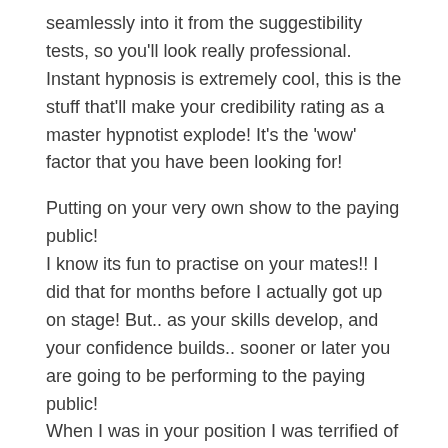seamlessly into it from the suggestibility tests, so you'll look really professional.
Instant hypnosis is extremely cool, this is the stuff that'll make your credibility rating as a master hypnotist explode! It's the 'wow' factor that you have been looking for!
Putting on your very own show to the paying public!
I know its fun to practise on your mates!! I did that for months before I actually got up on stage! But.. as your skills develop, and your confidence builds.. sooner or later you are going to be performing to the paying public!
When I was in your position I was terrified of the thought of getting up on stage and having all those faces looking up at me' but, as I learned more about hypnosis I began to hypnotize myself to overcome my crippling stage fright and became so confident that I couldn't wait to get up and perform!
I am so glad that I took that step, messing around with hypnosis on friends and work colleagues was a great laugh, but getting up on